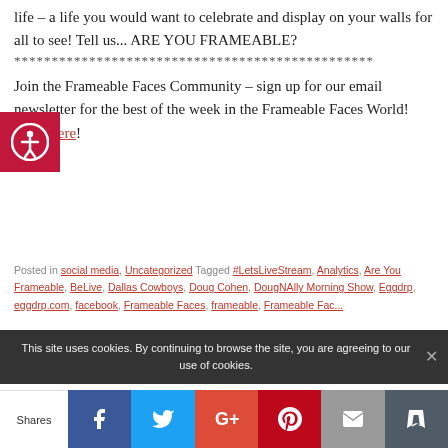life – a life you would want to celebrate and display on your walls for all to see!  Tell us... ARE YOU FRAMEABLE?
************************************************
Join the Frameable Faces Community – sign up for our email newsletter for the best of the week in the Frameable Faces World!  Click here!
Posted in social media, Uncategorized Tagged #LetsLiveStream, Analytics, Are You Frameable, BeLive, Dallas Cowboys, Doug Cohen, DougNAlly Morning Show, Eggdrp, eggdrp.com, facebook, Frameable Faces, frameable, Frameable Faces...
This site uses cookies. By continuing to browse the site, you are agreeing to our use of cookies.
Shares